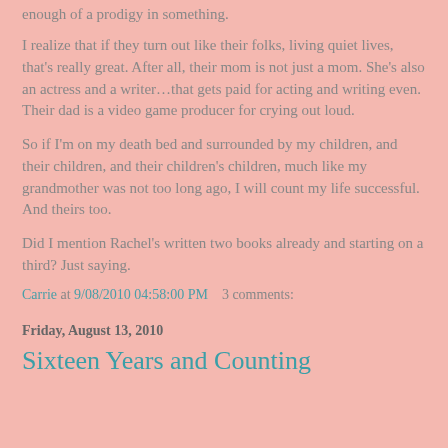enough of a prodigy in something.
I realize that if they turn out like their folks, living quiet lives, that's really great. After all, their mom is not just a mom. She's also an actress and a writer…that gets paid for acting and writing even. Their dad is a video game producer for crying out loud.
So if I'm on my death bed and surrounded by my children, and their children, and their children's children, much like my grandmother was not too long ago, I will count my life successful. And theirs too.
Did I mention Rachel's written two books already and starting on a third? Just saying.
Carrie at 9/08/2010 04:58:00 PM    3 comments:
Friday, August 13, 2010
Sixteen Years and Counting